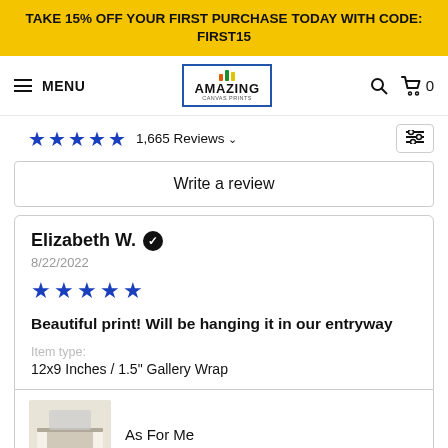TAKE 15% OFF YOUR FIRST PURCHASE TODAY WITH CODE: FIRST15
[Figure (screenshot): Amazing Canvas Prints logo with navigation bar showing hamburger menu, MENU text, logo, search icon, and cart with 0 items]
★★★★★ 1,665 Reviews ∨
Write a review
Elizabeth W. ✓
8/22/2022
★★★★★
Beautiful print! Will be hanging it in our entryway
Item type:
12x9 Inches / 1.5" Gallery Wrap
As For Me
[Figure (photo): Thumbnail image of a canvas print showing text art hanging above a couch in a living room setting]